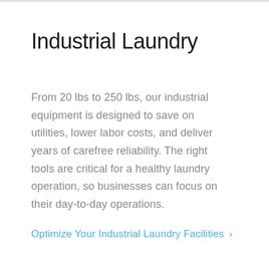Industrial Laundry
From 20 lbs to 250 lbs, our industrial equipment is designed to save on utilities, lower labor costs, and deliver years of carefree reliability. The right tools are critical for a healthy laundry operation, so businesses can focus on their day-to-day operations.
Optimize Your Industrial Laundry Facilities >